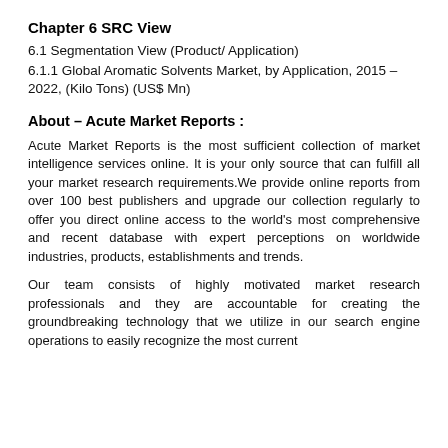Chapter 6 SRC View
6.1 Segmentation View (Product/ Application)
6.1.1 Global Aromatic Solvents Market, by Application, 2015 – 2022, (Kilo Tons) (US$ Mn)
About – Acute Market Reports :
Acute Market Reports is the most sufficient collection of market intelligence services online. It is your only source that can fulfill all your market research requirements.We provide online reports from over 100 best publishers and upgrade our collection regularly to offer you direct online access to the world's most comprehensive and recent database with expert perceptions on worldwide industries, products, establishments and trends.
Our team consists of highly motivated market research professionals and they are accountable for creating the groundbreaking technology that we utilize in our search engine operations to easily recognize the most current